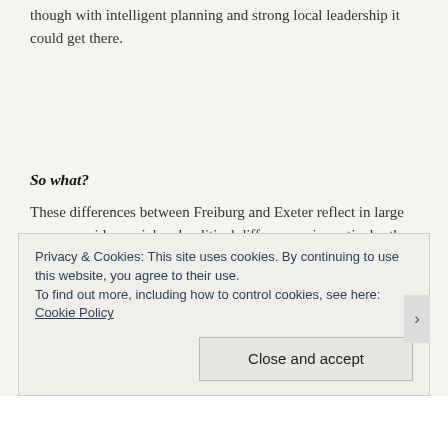though with intelligent planning and strong local leadership it could get there.
So what?
These differences between Freiburg and Exeter reflect in large measure wider social and political differences, in particular the embracing by the UK's – or at least England's –
Privacy & Cookies: This site uses cookies. By continuing to use this website, you agree to their use.
To find out more, including how to control cookies, see here: Cookie Policy
Close and accept